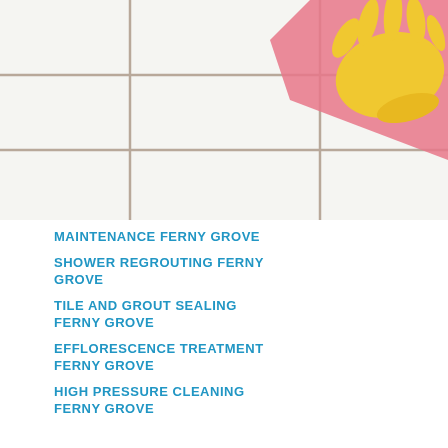[Figure (photo): White bathroom tiles with grout lines and yellow rubber glove on pink cloth in top right corner]
MAINTENANCE FERNY GROVE
SHOWER REGROUTING FERNY GROVE
TILE AND GROUT SEALING FERNY GROVE
EFFLORESCENCE TREATMENT FERNY GROVE
HIGH PRESSURE CLEANING FERNY GROVE
[Figure (photo): Before and after photos of a shower/bathroom - left shows dirty brown/orange stained tiles, right shows clean white/grey tiles after cleaning]